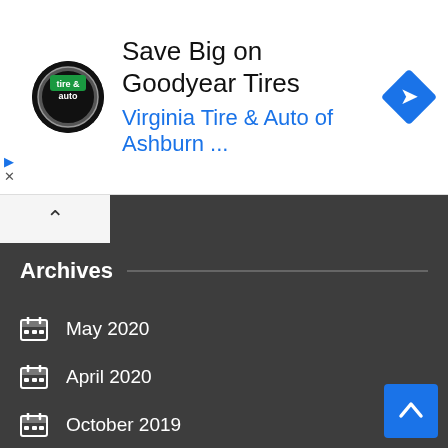[Figure (screenshot): Advertisement banner for Virginia Tire & Auto of Ashburn with Goodyear Tires promotion, showing logo, ad text, and navigation arrow icon]
Archives
May 2020
April 2020
October 2019
September 2019
July 2019
May 2019
March 2019
February 2019